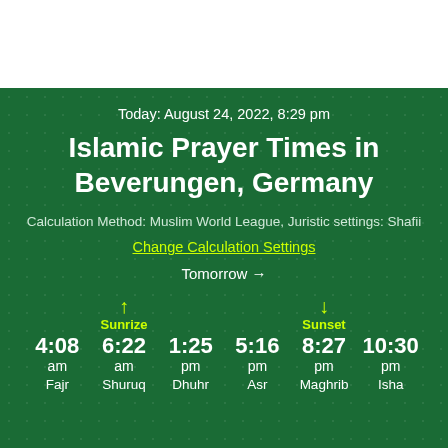Today: August 24, 2022, 8:29 pm
Islamic Prayer Times in Beverungen, Germany
Calculation Method: Muslim World League, Juristic settings: Shafii
Change Calculation Settings
Tomorrow →
| Fajr | Shuruq | Dhuhr | Asr | Maghrib | Isha |
| --- | --- | --- | --- | --- | --- |
| 4:08 am | 6:22 am | 1:25 pm | 5:16 pm | 8:27 pm | 10:30 pm |